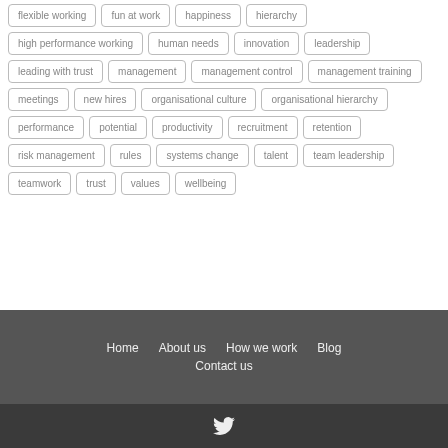flexible working
fun at work
happiness
hierarchy
high performance working
human needs
innovation
leadership
leading with trust
management
management control
management training
meetings
new hires
organisational culture
organisational hierarchy
performance
potential
productivity
recruitment
retention
risk management
rules
systems change
talent
team leadership
teamwork
trust
values
wellbeing
Home  About us  How we work  Blog  Contact us
[Figure (logo): Twitter bird icon in white on dark background]